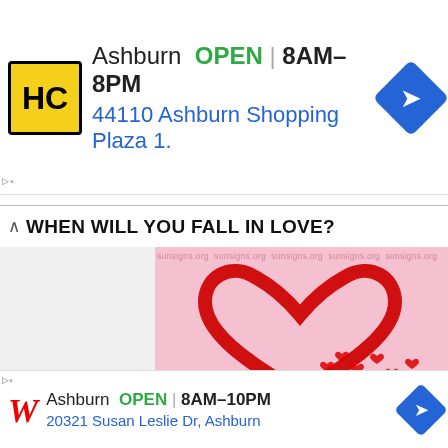[Figure (advertisement): HC logo ad banner showing Ashburn OPEN 8AM-8PM, 44110 Ashburn Shopping Plaza 1., with navigation arrow icon]
WHEN WILL YOU FALL IN LOVE?
[Figure (photo): Pink background with large red heart shape and small red hearts scattered around, with sunsigns.org watermark]
-ADVERTISEMENT-
[Figure (screenshot): Black video bar with circle icon and text: How To Open 7 Chakras - Meditation and Healing - SunSigns.Org]
[Figure (advertisement): Walgreens ad banner showing Ashburn OPEN 8AM-10PM, 20321 Susan Leslie Dr, Ashburn, with navigation arrow icon]